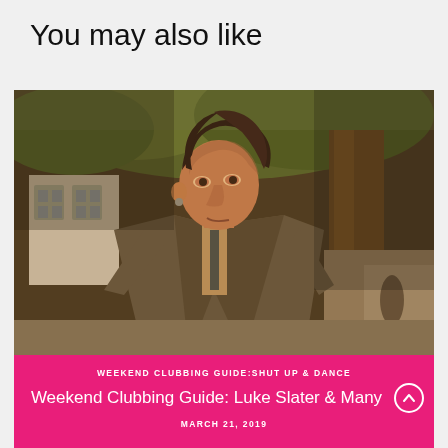You may also like
[Figure (photo): A man in a grey suit and dark tie standing outdoors near a tree, with a building visible in the background. Warm golden light illuminates the scene.]
WEEKEND CLUBBING GUIDE:SHUT UP & DANCE
Weekend Clubbing Guide: Luke Slater & Many
MARCH 21, 2019